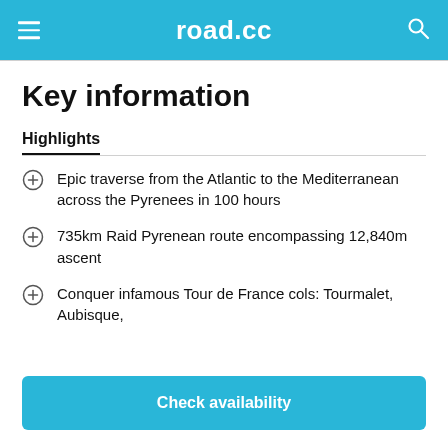road.cc
Key information
Highlights
Epic traverse from the Atlantic to the Mediterranean across the Pyrenees in 100 hours
735km Raid Pyrenean route encompassing 12,840m ascent
Conquer infamous Tour de France cols: Tourmalet, Aubisque,